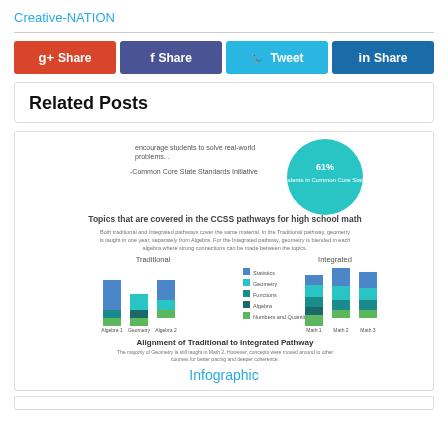Creative-NATION
[Figure (infographic): Four social sharing buttons: g+ Share (red), f Share (purple), Tweet (light blue), in Share (dark blue)]
Related Posts
[Figure (infographic): Thumbnail preview of an infographic about CCSS pathways for high school math, showing pie chart, stacked bar charts for Traditional and Integrated pathways, and alignment diagram. Labeled 'Infographic' in teal below.]